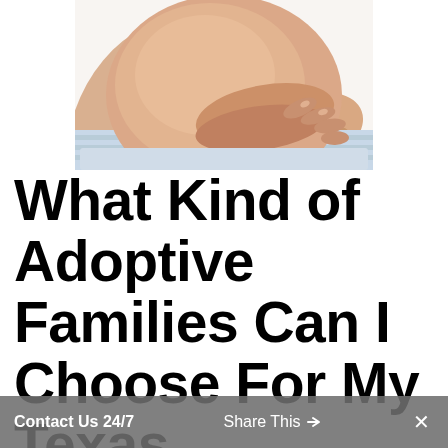[Figure (photo): Close-up photo of a pregnant woman's belly, hands gently holding/cradling the bump, wearing light blue fabric clothing. White background.]
What Kind of Adoptive Families Can I Choose For My Texas Adoption?
Contact Us 24/7   Share This   ✕